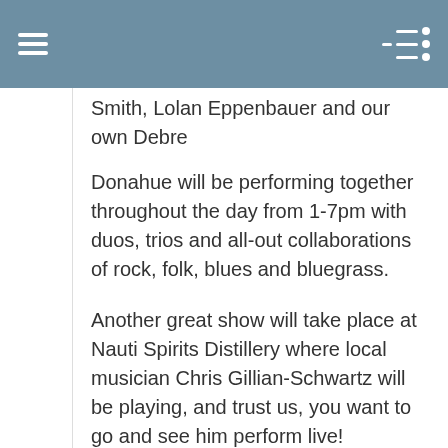Smith, Lolan Eppenbauer and our own Debre Donahue will be performing together throughout the day from 1-7pm with duos, trios and all-out collaborations of rock, folk, blues and bluegrass.
Another great show will take place at Nauti Spirits Distillery where local musician Chris Gillian-Schwartz will be playing, and trust us, you want to go and see him perform live!